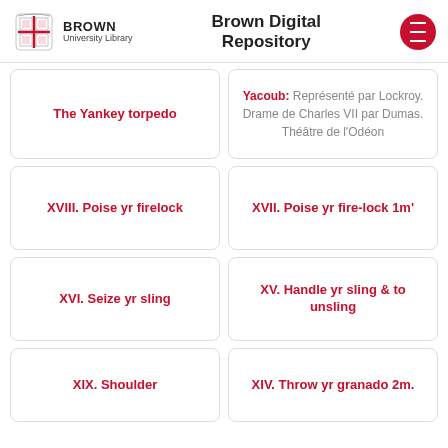Brown University Library — Brown Digital Repository
The Yankey torpedo
Yacoub: Représenté par Lockroy. Drame de Charles VII par Dumas. Théâtre de l'Odéon
XVIII. Poise yr firelock
XVII. Poise yr fire-lock 1m'
XVI. Seize yr sling
XV. Handle yr sling & to unsling
XIX. Shoulder
XIV. Throw yr granado 2m.